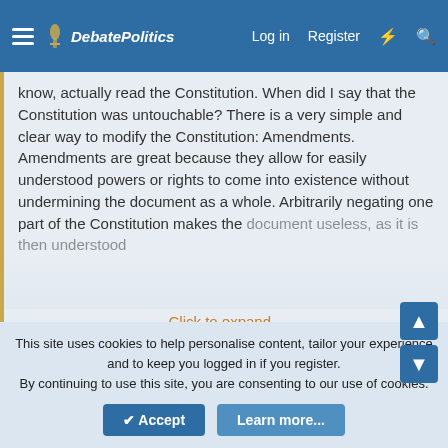DebatePolitics — Log in  Register
know, actually read the Constitution. When did I say that the Constitution was untouchable? There is a very simple and clear way to modify the Constitution: Amendments. Amendments are great because they allow for easily understood powers or rights to come into existence without undermining the document as a whole. Arbitrarily negating one part of the Constitution makes the document useless, as it is then understood
Click to expand...
Haha OK, yea, i'm a troll because I sarcastically referenced "it's just a piece of paper". Not every president changed the constitution, otherwise we'd have more then 27 amendments, that doesn't mean that former presidents didn't try. You are also getting pretty ridiculous here with holocaust analogies (paging godwin!) , and very quick to defend W, hmmm. Nazi analogies? Defending President Bush? Glenn Beck I didn't know you posted here?!?!
This site uses cookies to help personalise content, tailor your experience and to keep you logged in if you register.
By continuing to use this site, you are consenting to our use of cookies.
Accept
Learn more...